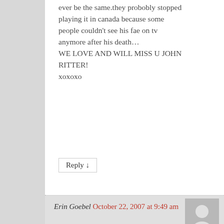ever be the same.they probobly stopped playing it in canada because some people couldn’y see his fae on tv anymore after his death…
WE LOVE AND WILL MISS U JOHN RITTER!
xoxoxo
Reply ↓
Erin Goebel October 22, 2007 at 9:49 am
I adored John Ritter’s starring role in Three’s Company. There was only one other comedian who came close to his comedic